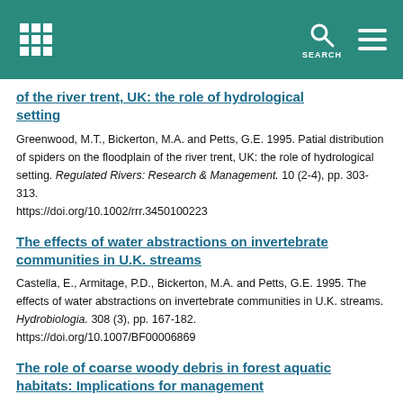SEARCH
of the river trent, UK: the role of hydrological setting
Greenwood, M.T., Bickerton, M.A. and Petts, G.E. 1995. Patial distribution of spiders on the floodplain of the river trent, UK: the role of hydrological setting. Regulated Rivers: Research & Management. 10 (2-4), pp. 303-313. https://doi.org/10.1002/rrr.3450100223
The effects of water abstractions on invertebrate communities in U.K. streams
Castella, E., Armitage, P.D., Bickerton, M.A. and Petts, G.E. 1995. The effects of water abstractions on invertebrate communities in U.K. streams. Hydrobiologia. 308 (3), pp. 167-182. https://doi.org/10.1007/BF00006869
The role of coarse woody debris in forest aquatic habitats: Implications for management
Gurnell, A.M., Gregory, K.J. and Petts, G.E. 1995. The role of coarse